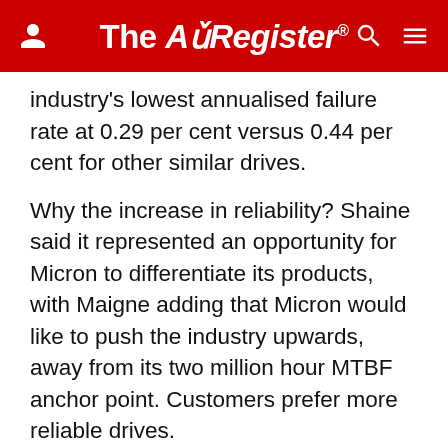The Register
industry's lowest annualised failure rate at 0.29 per cent versus 0.44 per cent for other similar drives.
Why the increase in reliability? Shaine said it represented an opportunity for Micron to differentiate its products, with Maigne adding that Micron would like to push the industry upwards, away from its two million hour MTBF anchor point. Customers prefer more reliable drives.
Over the life of the 5100, Shaine said, Micron saw that its reliability was better than originally specified. The manufacturing was high quality and the design was good enough for that to happen. So it uprated the reliability to three million hours and the 5200 inherited